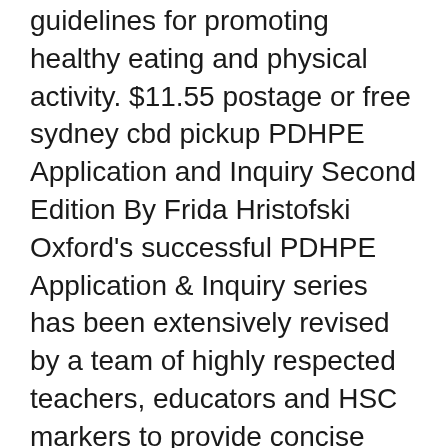guidelines for promoting healthy eating and physical activity. $11.55 postage or free sydney cbd pickup PDHPE Application and Inquiry Second Edition By Frida Hristofski Oxford's successful PDHPE Application & Inquiry series has been extensively revised by a team of highly respected teachers, educators and HSC markers to provide concise and clear coverage of the revised Stage 6 syllabus.
PDHPE Application and Inquiry is supported by password protected teaching and assessment resources. If you have booklisted or purchased a full class set you are invited to access this material. Online resources will be